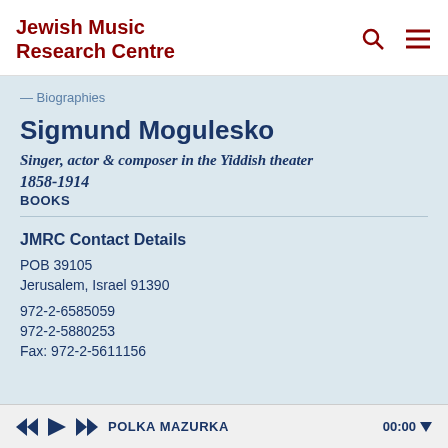Jewish Music Research Centre
— Biographies
Sigmund Mogulesko
Singer, actor & composer in the Yiddish theater
1858-1914
Books
JMRC Contact Details
POB 39105
Jerusalem, Israel 91390
972-2-6585059
972-2-5880253
Fax: 972-2-5611156
POLKA MAZURKA  00:00